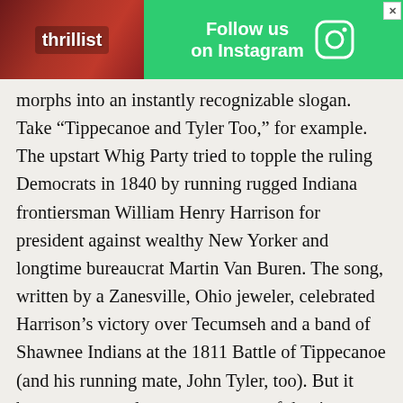[Figure (screenshot): Thrillist advertisement banner with food photo background on left and green 'Follow us on Instagram' call-to-action on right]
morphs into an instantly recognizable slogan. Take “Tippecanoe and Tyler Too,” for example. The upstart Whig Party tried to topple the ruling Democrats in 1840 by running rugged Indiana frontiersman William Henry Harrison for president against wealthy New Yorker and longtime bureaucrat Martin Van Buren. The song, written by a Zanesville, Ohio jeweler, celebrated Harrison’s victory over Tecumseh and a band of Shawnee Indians at the 1811 Battle of Tippecanoe (and his running mate, John Tyler, too). But it became so popular -- newspapers of the time compared it to the “Marseillaise” -- that Whigs around the country used “Tippecanoe and Tyler Too!” as a rallying cry